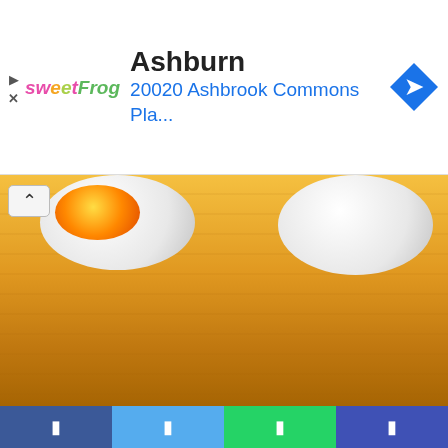[Figure (screenshot): Advertisement banner for sweetFrog with Ashburn location: '20020 Ashbrook Commons Pla...' with navigation arrow icon]
[Figure (photo): Photo of dessert bowls with colorful toppings on a wooden table surface, with a collapse/up arrow button overlay]
A Soft Serve Brand Built For Success
With their soft serve and ice cream being 50% less sweet compared to market brands, there's no doubt their desserts are well worth that cheat day. Despite the challenges Softsrve has faced due to the pandemic, they continue